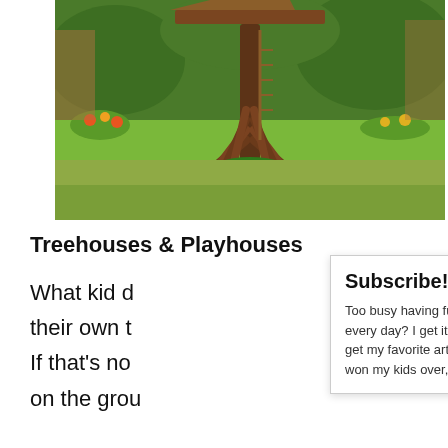[Figure (photo): A treehouse with diagonal wooden support beams around a central tree trunk, set in a green grassy garden with flowers and shrubs at the base.]
Treehouses & Playhouses
What kid do... their own t... If that's no... on the grou...
[Figure (infographic): Subscribe popup overlay with title 'Subscribe!' and text: Too busy having fun with the kids to check in every day? I get it! Sign up for the newsletter to get my favorite articles, the latest recipe that won my kids over, and other parenting tips!]